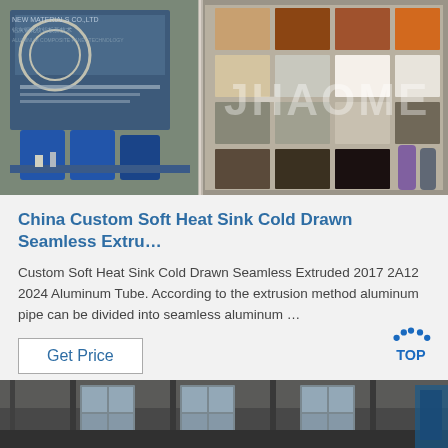[Figure (photo): Trade show booth photo showing building materials samples (aluminum panels, stone/granite slabs in various colors) mounted on a wall display, with blue chairs and a table in the foreground. A watermark reads 'JHAOME'. Chinese text visible on a banner.]
China Custom Soft Heat Sink Cold Drawn Seamless Extru…
Custom Soft Heat Sink Cold Drawn Seamless Extruded 2017 2A12 2024 Aluminum Tube. According to the extrusion method aluminum pipe can be divided into seamless aluminum …
[Figure (other): Get Price button — a rectangular button with blue text 'Get Price' on white background with a thin border.]
[Figure (logo): TOP button logo with blue dots arranged in an arc above the word 'TOP' in blue text.]
[Figure (photo): Partial photo of an industrial or warehouse interior with large windows and dark walls/floors visible at the bottom of the page.]